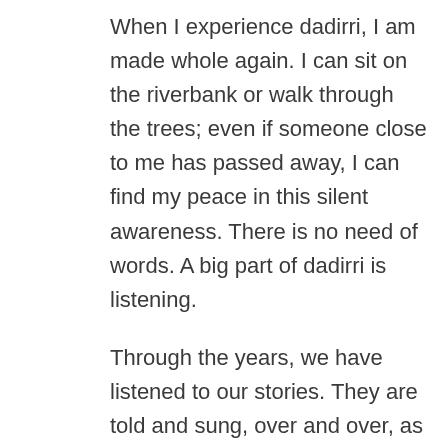When I experience dadirri, I am made whole again. I can sit on the riverbank or walk through the trees; even if someone close to me has passed away, I can find my peace in this silent awareness. There is no need of words. A big part of dadirri is listening.
Through the years, we have listened to our stories. They are told and sung, over and over, as the seasons go by. Today we still gather around the campfires and together we hear the sacred stories.
As we grow older, we ourselves become the storytellers. We pass on to the young ones all